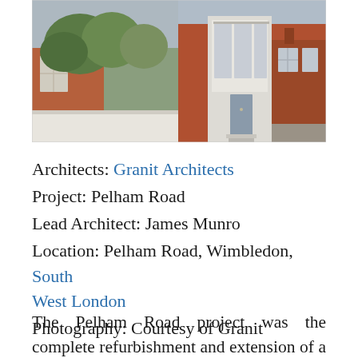[Figure (photo): Exterior photo of a red brick terraced house on Pelham Road, Wimbledon, showing front facade with white-framed bay window, grey front door with steps, white garden wall, and neighbouring brick house to the right.]
Architects: Granit Architects
Project: Pelham Road
Lead Architect: James Munro
Location: Pelham Road, Wimbledon, South West London
Photography: Courtesy of Granit
The Pelham Road project was the complete refurbishment and extension of a dilapidated